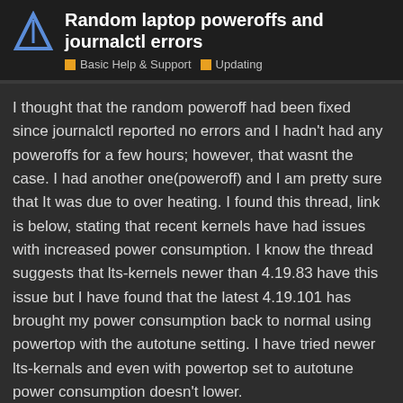Random laptop poweroffs and journalctl errors
Basic Help & Support   Updating
I thought that the random poweroff had been fixed since journalctl reported no errors and I hadn't had any poweroffs for a few hours; however, that wasnt the case. I had another one(poweroff) and I am pretty sure that It was due to over heating. I found this thread, link is below, stating that recent kernels have had issues with increased power consumption. I know the thread suggests that lts-kernels newer than 4.19.83 have this issue but I have found that the latest 4.19.101 has brought my power consumption back to normal using powertop with the autotune setting. I have tried newer lts-kernals and even with powertop set to autotune power consumption doesn't lower.
I haven't tried the Vanilla-Kernels other than the most recent and power consumption is still high even with powertop set to autotune.
So, for now I guess I will have to st...ntil
17 / 18